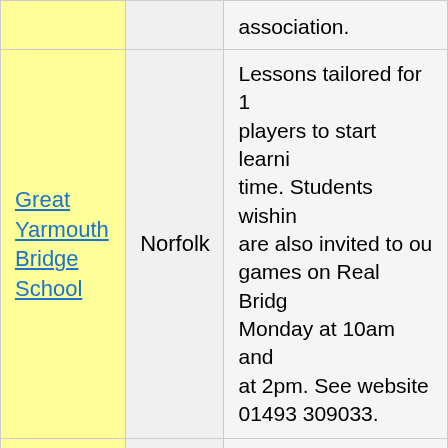| Name | Location | Description |
| --- | --- | --- |
| (partial top row) |  | association. |
| Great Yarmouth Bridge School | Norfolk | Lessons tailored for 1 players to start learni time. Students wishin are also invited to ou games on Real Bridg Monday at 10am and at 2pm. See website 01493 309033. |
| Jack Stocken | Online | Jack will teach a lives online weekly class in complete beginners. lessons are free. Or j intermediate class ev at 9.30am. All lessons interactive and availa if you can&rsquo;t ma |
| (partial bottom row) |  |  |